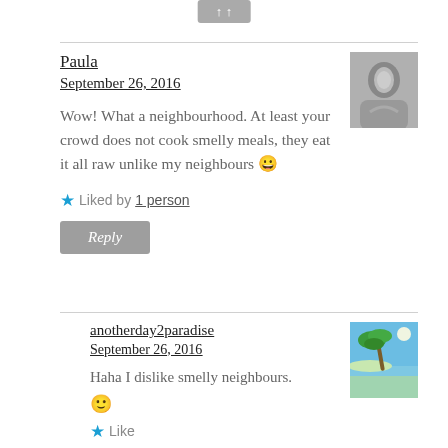Paula
September 26, 2016
Wow! What a neighbourhood. At least your crowd does not cook smelly meals, they eat it all raw unlike my neighbours 😀
Liked by 1 person
Reply
anotherday2paradise
September 26, 2016
Haha I dislike smelly neighbours. 🙂
Like